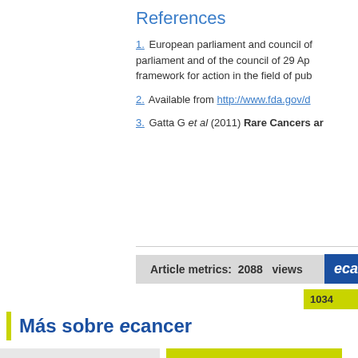References
1. European parliament and council of ... parliament and of the council of 29 Ap... framework for action in the field of pub...
2. Available from http://www.fda.gov/d...
3. Gatta G et al (2011) Rare Cancers ar...
Article metrics: 2088 views
ecancer
1034
Más sobre ecancer
Newsletter
Explore los recursos pacientes en ecancer...